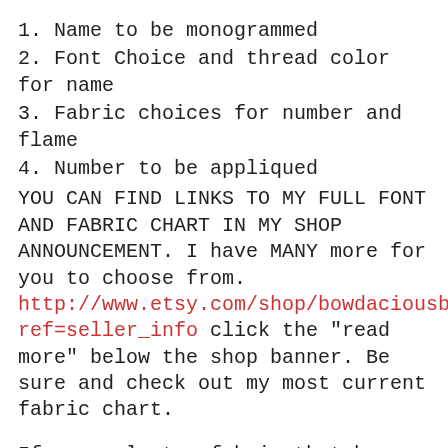1. Name to be monogrammed
2. Font Choice and thread color for name
3. Fabric choices for number and flame
4. Number to be appliqued
YOU CAN FIND LINKS TO MY FULL FONT AND FABRIC CHART IN MY SHOP ANNOUNCEMENT. I have MANY more for you to choose from. http://www.etsy.com/shop/bowdaciousbaby?ref=seller_info click the "read more" below the shop banner. Be sure and check out my most current fabric chart.
If you select a fabric that has a white background or does not have a main background color please enter a thread color for the outline.
If you like the fabrics shown on the sample please check the fabric chart found on the link in the shop announcement to make sure it is still